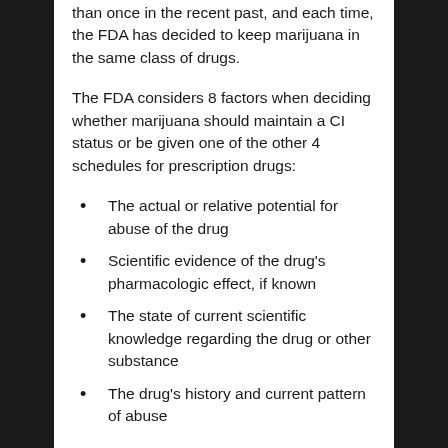than once in the recent past, and each time, the FDA has decided to keep marijuana in the same class of drugs.
The FDA considers 8 factors when deciding whether marijuana should maintain a CI status or be given one of the other 4 schedules for prescription drugs:
The actual or relative potential for abuse of the drug
Scientific evidence of the drug's pharmacologic effect, if known
The state of current scientific knowledge regarding the drug or other substance
The drug's history and current pattern of abuse